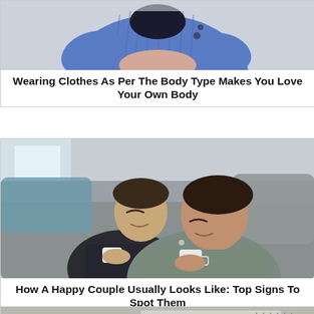[Figure (photo): Person wearing a blue knit cardigan, partial view showing torso and folded arms, with a black top underneath, indoor background]
Wearing Clothes As Per The Body Type Makes You Love Your Own Body
[Figure (photo): A happy couple relaxing on a sofa with eyes closed, each holding a white mug, woman in grey sweater in foreground, man in black jacket behind her, cozy indoor setting]
How A Happy Couple Usually Looks Like: Top Signs To Spot Them
[Figure (photo): Car interior dashboard view, partial view of steering wheel and dashboard controls, cropped at bottom of page]